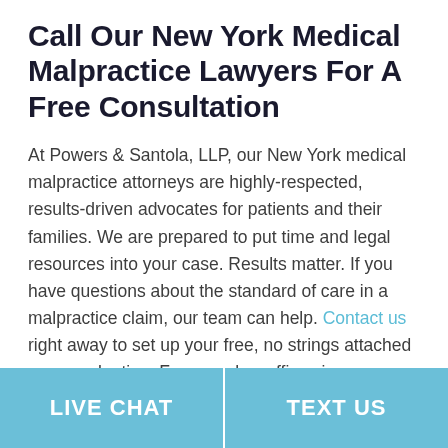Call Our New York Medical Malpractice Lawyers For A Free Consultation
At Powers & Santola, LLP, our New York medical malpractice attorneys are highly-respected, results-driven advocates for patients and their families. We are prepared to put time and legal resources into your case. Results matter. If you have questions about the standard of care in a malpractice claim, our team can help. Contact us right away to set up your free, no strings attached case evaluation. From our law offices in Rochester, Syracuse, and Albany, our firm represents malpractice victims throughout New York, including in Saratoga Springs, Troy, and Schenectady.
LIVE CHAT | TEXT US